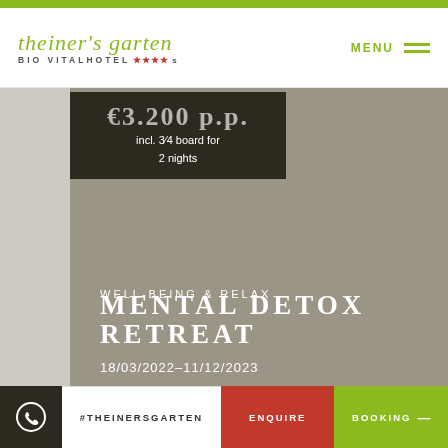[Figure (logo): theiner's garten Bio Vitalhotel logo with green italic text and red stars]
MENU
[Figure (photo): Large grey-toned photo of hotel retreat scenery]
€3.200 p.p.
incl. 3⁄4 board for 2 nights
WELL-BEING & RELAX
MENTAL DETOX RETREAT
18/03/2022–11/12/2023
#THEINERSGARTEN
ENQUIRE
BOOKING —